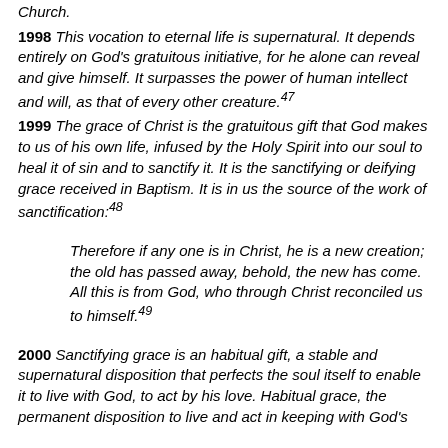Church.
1998 This vocation to eternal life is supernatural. It depends entirely on God's gratuitous initiative, for he alone can reveal and give himself. It surpasses the power of human intellect and will, as that of every other creature.47
1999 The grace of Christ is the gratuitous gift that God makes to us of his own life, infused by the Holy Spirit into our soul to heal it of sin and to sanctify it. It is the sanctifying or deifying grace received in Baptism. It is in us the source of the work of sanctification:48
Therefore if any one is in Christ, he is a new creation; the old has passed away, behold, the new has come. All this is from God, who through Christ reconciled us to himself.49
2000 Sanctifying grace is an habitual gift, a stable and supernatural disposition that perfects the soul itself to enable it to live with God, to act by his love. Habitual grace, the permanent disposition to live and act in keeping with God's calling, is distinguished from actual graces which refer to God's